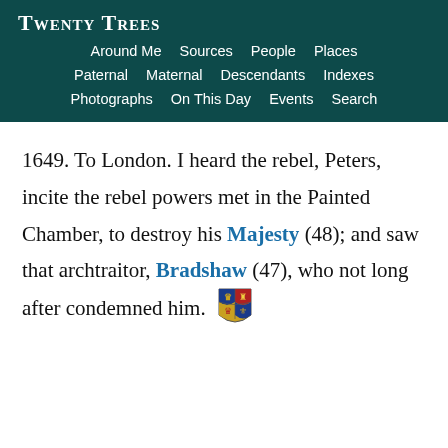Twenty Trees
Around Me | Sources | People | Places | Paternal | Maternal | Descendants | Indexes | Photographs | On This Day | Events | Search
1649. To London. I heard the rebel, Peters, incite the rebel powers met in the Painted Chamber, to destroy his Majesty (48); and saw that archtraitor, Bradshaw (47), who not long after condemned him.